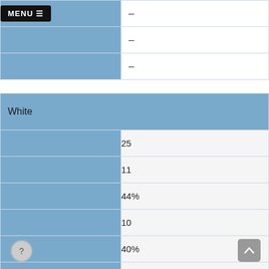| MENU ☰ | – |
|  | – |
|  | – |
| White |  |
|  | 25 |
|  | 11 |
|  | 44% |
|  | 10 |
|  | 40% |
|  | 4 |
|  | 16% |
|  | 0 |